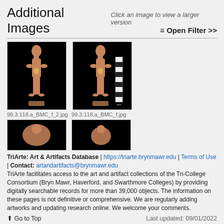Additional Images   Click an image to view a larger version
[Figure (photo): Photo of an artifact figurine (99.3.118.a_BMC_f_2.jpg) on black background]
99.3.118.a_BMC_f_2.jpg
[Figure (photo): Photo of an artifact figurine with ruler scale (99.3.118.a_BMC_f.jpg) on black background]
99.3.118.a_BMC_f.jpg
[Figure (photo): Partial/cropped photo of artifact on black background (bottom left)]
[Figure (photo): Partial/cropped photo of artifact on black background (bottom right)]
TriArte: Art & Artifacts Database | https://triarte.brynmawr.edu | Terms of Use | Contact: artandartifacts@brynmawr.edu
TriArte facilitates access to the art and artifact collections of the Tri-College Consortium (Bryn Mawr, Haverford, and Swarthmore Colleges) by providing digitally searchable records for more than 39,000 objects. The information on these pages is not definitive or comprehensive. We are regularly adding artworks and updating research online. We welcome your comments.
↑ Go to Top
Last updated: 09/01/2022